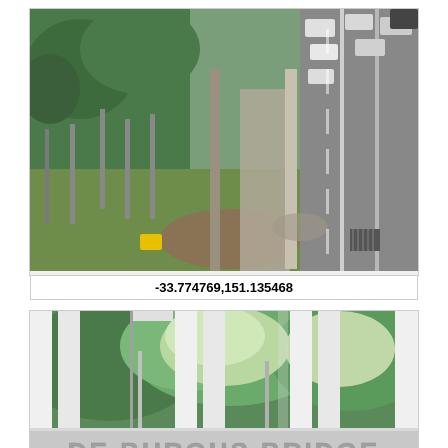[Figure (photo): Outdoor photo showing a grassy area with metal poles/bollards, a footpath along a bridge or elevated road, with traffic visible on the right side including several cars on a multi-lane highway. Trees and vegetation visible in the background on the left.]
-33.774769,151.135468
[Figure (photo): Close-up photo of a bridge railing/balustrade with white vertical bars, looking through to green trees and vegetation behind. At the bottom of the image is a gray metal plate/plaque reading 'DE BURGHS BRIDGE' in raised lettering.]